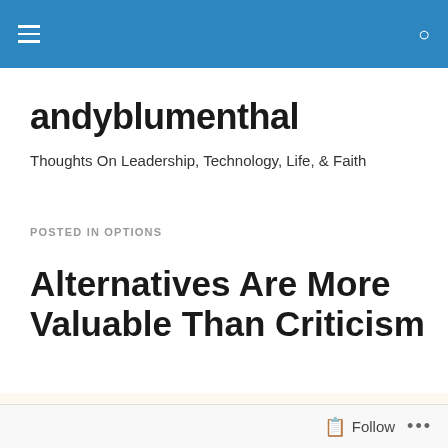andyblumenthal
andyblumenthal
Thoughts On Leadership, Technology, Life, & Faith
POSTED IN OPTIONS
Alternatives Are More Valuable Than Criticism
[Figure (photo): Handwritten text partially visible: 'STILL' in pink/red lettering above large dark letters 'TA DON'T KNOW' on a light cream background]
Follow